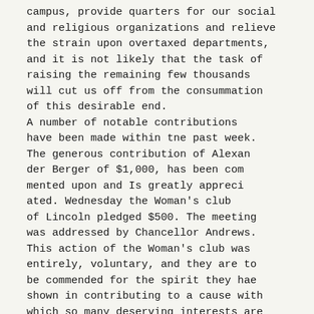campus, provide quarters for our social and religious organizations and relieve the strain upon overtaxed departments, and it is not likely that the task of raising the remaining few thousands will cut us off from the consummation of this desirable end.
A number of notable contributions have been made within tne past week. The generous contribution of Alexander Berger of $1,000, has been commented upon and Is greatly appreciated. Wednesday the Woman's club of Lincoln pledged $500. The meeting was addressed by Chancellor Andrews. This action of the Woman's club was entirely, voluntary, and they are to be commended for the spirit they hae shown in contributing to a cause with which so many deserving interests are